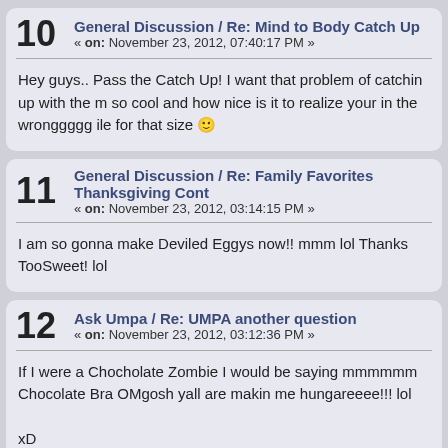10 General Discussion / Re: Mind to Body Catch Up « on: November 23, 2012, 07:40:17 PM »
Hey guys.. Pass the Catch Up! I want that problem of catchin up with the m so cool and how nice is it to realize your in the wronggggg ile for that size
11 General Discussion / Re: Family Favorites Thanksgiving Cont « on: November 23, 2012, 03:14:15 PM »
I am so gonna make Deviled Eggys now!! mmm lol Thanks TooSweet! lol
12 Ask Umpa / Re: UMPA another question « on: November 23, 2012, 03:12:36 PM »
If I were a Chocholate Zombie I would be saying mmmmmm Chocolate Bra OMgosh yall are makin me hungareeee!!! lol

xD
Sher